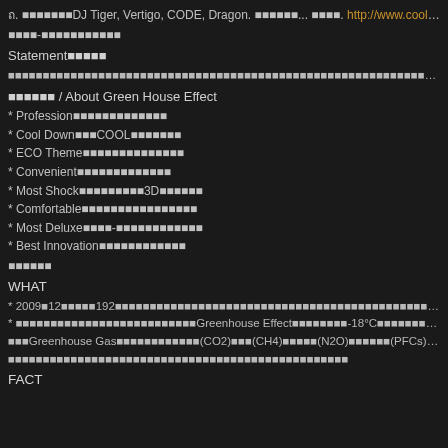ถ. ■■■■■■■DJ Tiger, Vertigo, CODE, Dragon. ■■■■■■... ■■■■. http://www.cooldown.
■■■■-■■■■■■■■■■■
Statement■■■■■
■■■■■■■■■■■■■■■■■■■■■■■■■■■■■■■■■■■■■■■■■■■■■■■■■■■■■■■■■■■■■■■■■■■■■■■■■■■■■■■■■■■■■■■■■
■■■■■■ / About Green House Effect
* Profession■■■■■■■■■■■■■
* Cool Down■■■COOL■■■■■■■
* ECO Theme■■■■■■■■■■■■■■
* Convenient■■■■■■■■■■■■■
* Most Shock■■■■■■■■■3D■■■■■■
* Comfortable■■■■■■■■■■■■■■■■
* Most Deluxe■■■■-■■■■■■■■■■■■
* Best Innovation■■■■■■■■■■■■
■■■■■■
WHAT
* 2009■12■■■■■192■■■■■■■■■■■■■■■■■■■■■■■■■■■■■■■■■■■■■■■■■■■■■■■■■■■■■■■■■■■■■■■■■
* ■■■■■■■■■■■■■■■■■■■■■■■■■■Greenhouse Effect■■■■■■■■-18°C■■■■■■■■■■■■■■■15°C■■■
■■■Greenhouse Gas■■■■■■■■■■■■(CO2)■■■(CH4)■■■■■(N2O)■■■■■■(PFCs)■■■■■■(HFC
■■■■■■■■■■■■■■■■■■■■■■■■■■■■■■■■■■■■■■■■■■■■■■■■■
FACT